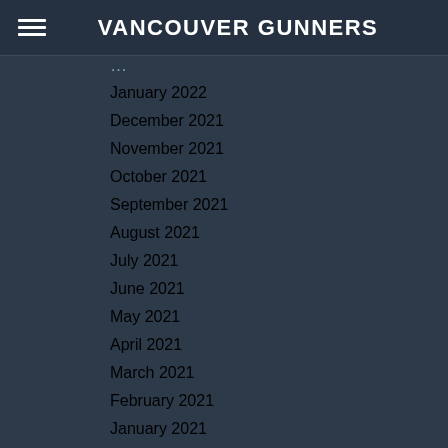VANCOUVER GUNNERS
January 2022
December 2021
November 2021
October 2021
September 2021
August 2021
July 2021
June 2021
May 2021
April 2021
March 2021
February 2021
January 2021
December 2020
November 2020
October 2020
September 2020
August 2020
July 2020